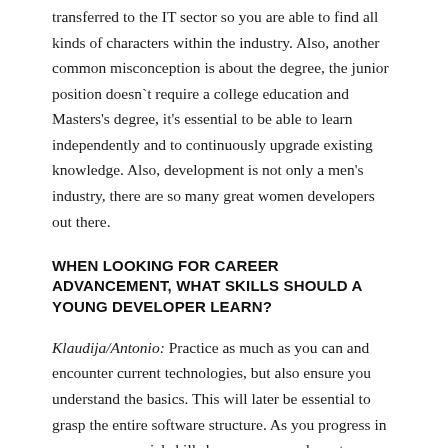transferred to the IT sector so you are able to find all kinds of characters within the industry. Also, another common misconception is about the degree, the junior position doesn`t require a college education and Masters's degree, it's essential to be able to learn independently and to continuously upgrade existing knowledge. Also, development is not only a men's industry, there are so many great women developers out there.
WHEN LOOKING FOR CAREER ADVANCEMENT, WHAT SKILLS SHOULD A YOUNG DEVELOPER LEARN?
Klaudija/Antonio: Practice as much as you can and encounter current technologies, but also ensure you understand the basics. This will later be essential to grasp the entire software structure. As you progress in your career, social skills become more relevant, you need to be able to communicate and ask the right questions. Software is created for people so it's crucial to understand what